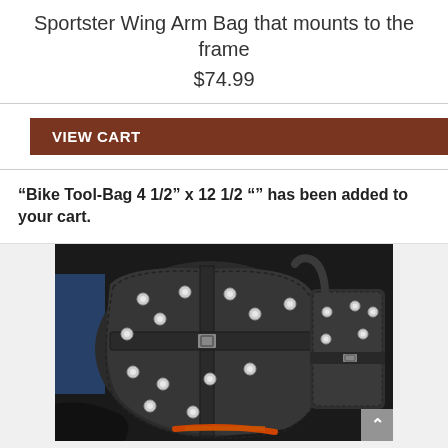Sportster Wing Arm Bag that mounts to the frame
$74.99
VIEW CART
"Bike Tool-Bag 4 1/2" x 12 1/2 "" has been added to your cart.
[Figure (photo): Photo of a black leather motorcycle saddlebag/tool bag with chrome studs and metal buckle straps, shown alongside a smaller matching bag, on a motorcycle]